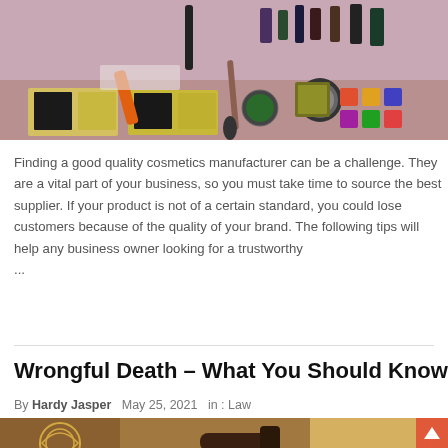[Figure (photo): A display of various cosmetics products including makeup palettes, lipsticks, eyeshadows, compacts with yellow powder, and other beauty items arranged on a pink/mauve surface.]
Finding a good quality cosmetics manufacturer can be a challenge. They are a vital part of your business, so you must take time to source the best supplier. If your product is not of a certain standard, you could lose customers because of the quality of your brand. The following tips will help any business owner looking for a trustworthy ...
Wrongful Death – What You Should Know
By Hardy Jasper   May 25, 2021   in : Law
[Figure (photo): A partial view of a law-related image showing a gavel and decorative pattern, partially visible at the bottom of the page.]